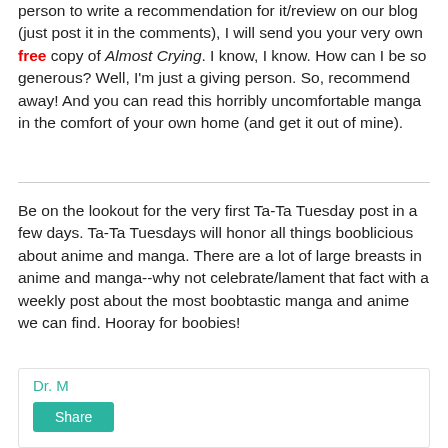person to write a recommendation for it/review on our blog (just post it in the comments), I will send you your very own free copy of Almost Crying. I know, I know. How can I be so generous? Well, I'm just a giving person. So, recommend away! And you can read this horribly uncomfortable manga in the comfort of your own home (and get it out of mine).
Be on the lookout for the very first Ta-Ta Tuesday post in a few days. Ta-Ta Tuesdays will honor all things booblicious about anime and manga. There are a lot of large breasts in anime and manga--why not celebrate/lament that fact with a weekly post about the most boobtastic manga and anime we can find. Hooray for boobies!
Dr. M
Share